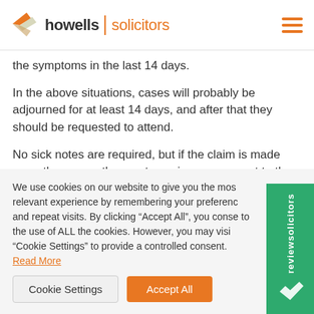howells solicitors
the symptoms in the last 14 days.
In the above situations, cases will probably be adjourned for at least 14 days, and after that they should be requested to attend.
No sick notes are required, but if the claim is made more than once, the court may issue a warrant to the
We use cookies on our website to give you the most relevant experience by remembering your preferences and repeat visits. By clicking “Accept All”, you consent to the use of ALL the cookies. However, you may visit “Cookie Settings” to provide a controlled consent. Read More
Cookie Settings | Accept All